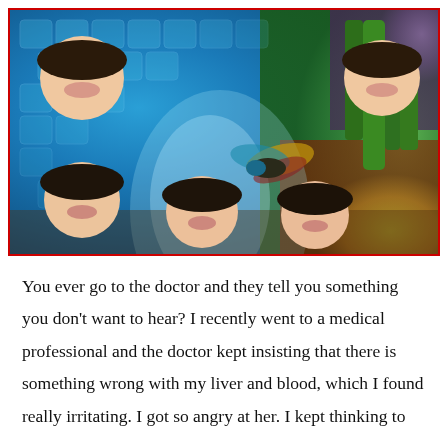[Figure (photo): A psychedelic/surreal artistic photo montage showing multiple repeated images of a young woman with dark bangs and red lips, set against a vivid background featuring blue mosaic-patterned snake-like tunnel, cacti, hummingbird with colorful wings, desert sunset scene, and abstract colorful patterns.]
You ever go to the doctor and they tell you something you don't want to hear? I recently went to a medical professional and the doctor kept insisting that there is something wrong with my liver and blood, which I found really irritating. I got so angry at her. I kept thinking to